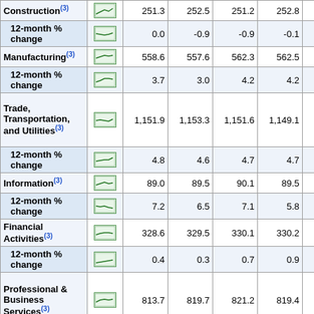| Industry | Chart | Col1 | Col2 | Col3 | Col4 | Col5 | Col6 |
| --- | --- | --- | --- | --- | --- | --- | --- |
| Construction(3) | [chart] | 251.3 | 252.5 | 251.2 | 252.8 | 255.6 | (P) 2... |
| 12-month % change | [chart] | 0.0 | -0.9 | -0.9 | -0.1 | 1.5 | (P) |
| Manufacturing(3) | [chart] | 558.6 | 557.6 | 562.3 | 562.5 | 561.3 | (P) 56... |
| 12-month % change | [chart] | 3.7 | 3.0 | 4.2 | 4.2 | 3.9 | (P) |
| Trade, Transportation, and Utilities(3) | [chart] | 1,151.9 | 1,153.3 | 1,151.6 | 1,149.1 | 1,157.6 | (P) 1,1... |
| 12-month % change | [chart] | 4.8 | 4.6 | 4.7 | 4.7 | 5.4 | (P) |
| Information(3) | [chart] | 89.0 | 89.5 | 90.1 | 89.5 | 89.7 | (P) 8... |
| 12-month % change | [chart] | 7.2 | 6.5 | 7.1 | 5.8 | 5.0 | (P) |
| Financial Activities(3) | [chart] | 328.6 | 329.5 | 330.1 | 330.2 | 329.7 | (P) 3... |
| 12-month % change | [chart] | 0.4 | 0.3 | 0.7 | 0.9 | 1.0 | (P) |
| Professional & Business Services(3) | [chart] | 813.7 | 819.7 | 821.2 | 819.4 | 819.9 | (P) 8... |